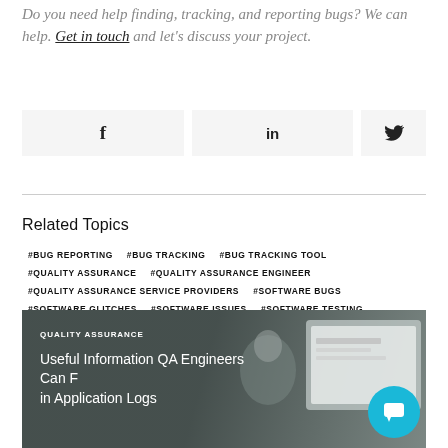Do you need help finding, tracking, and reporting bugs? We can help. Get in touch and let's discuss your project.
[Figure (other): Social share buttons for Facebook (f), LinkedIn (in), and Twitter (bird icon)]
Related Topics
#BUG REPORTING
#BUG TRACKING
#BUG TRACKING TOOL
#QUALITY ASSURANCE
#QUALITY ASSURANCE ENGINEER
#QUALITY ASSURANCE SERVICE PROVIDERS
#SOFTWARE BUGS
#SOFTWARE GLITCHES
#SOFTWARE ISSUES
#SOFTWARE TESTING
[Figure (photo): Article card with dark overlay showing a person at a computer. Label reads QUALITY ASSURANCE. Title: Useful Information QA Engineers Can F... in Application Logs. A teal chat button is visible at bottom right.]